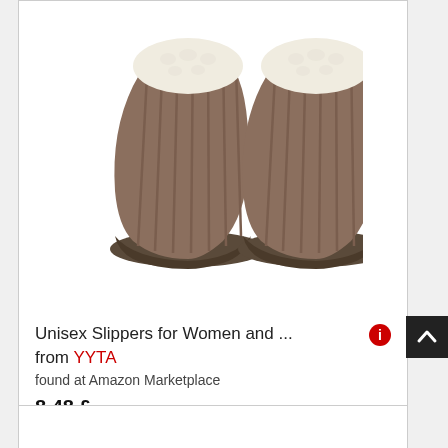[Figure (photo): A pair of taupe/brown corduroy slip-on slippers with white fluffy sherpa lining, viewed from above on a white background.]
Unisex Slippers for Women and ... from YYTA
found at Amazon Marketplace
8.48 £
Shipping costs: 7.99 £